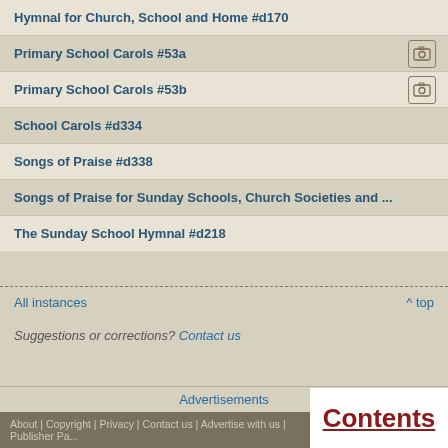Hymnal for Church, School and Home #d170
Primary School Carols #53a
Primary School Carols #53b
School Carols #d334
Songs of Praise #d338
Songs of Praise for Sunday Schools, Church Societies and ...
The Sunday School Hymnal #d218
All instances  ^ top
Suggestions or corrections? Contact us
Advertisements
About | Copyright | Privacy | Contact us | Advertise with us | Publisher Pa...
Contents